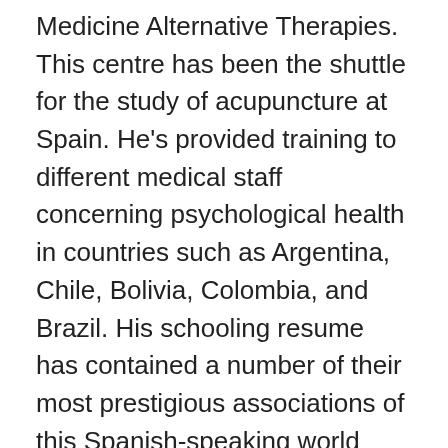Medicine Alternative Therapies. This centre has been the shuttle for the study of acupuncture at Spain. He's provided training to different medical staff concerning psychological health in countries such as Argentina, Chile, Bolivia, Colombia, and Brazil. His schooling resume has contained a number of their most prestigious associations of this Spanish-speaking world such as Gustavo Adolfo Becquer High School National Institute of Seville, Andalusian Institute of Educational Approaches of FP at Seville, National Undersecretary of Tropical Medicine of Ecuador, College of Physicians and Surgeons of Costa Rica, along with Pablo Ruiz Picasso Vocational Training Institute of Chiclana de la Frontera among others. Tony is widely admired for his elegance and class along with his thinkings that have directed him to release a number of those